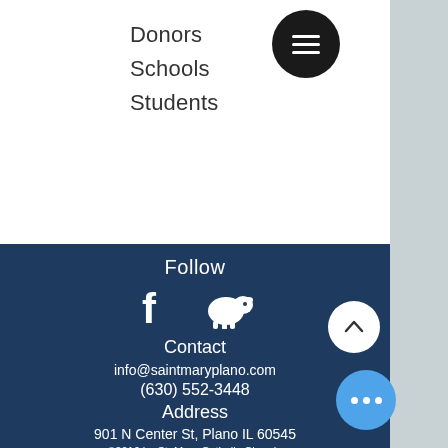Donors
Schools
Students
Follow
[Figure (illustration): Facebook and sheep/lamb social icons in white on dark blue background]
Contact
info@saintmaryplano.com
(630) 552-3448
Address
901 N Center St, Plano IL 60545
©2016 by St. Mary Catholic Church. Proudly created with Wix.com